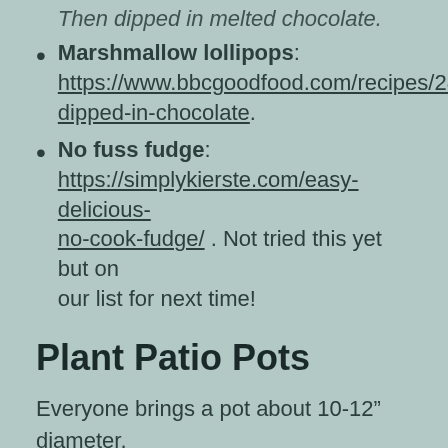Marshmallow lollipops: https://www.bbcgoodfood.com/recipes/2807/dipped-in-chocolate.
No fuss fudge: https://simplykierste.com/easy-delicious-no-cook-fudge/ . Not tried this yet but on our list for next time!
Plant Patio Pots
Everyone brings a pot about 10-12” diameter. It is useful to have extra in case someone is unable to bring one or has forgotten. Provide compost, broken up polystyrene for lightweight